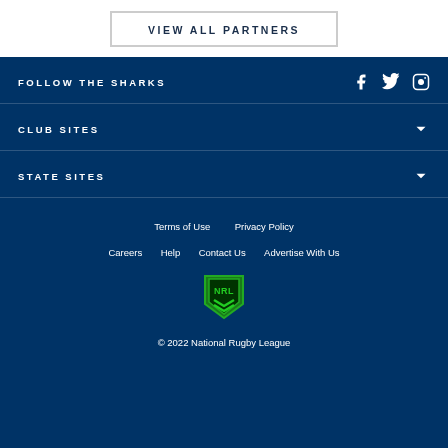VIEW ALL PARTNERS
FOLLOW THE SHARKS
CLUB SITES
STATE SITES
Terms of Use  Privacy Policy
Careers  Help  Contact Us  Advertise With Us
[Figure (logo): NRL shield logo in green]
© 2022 National Rugby League